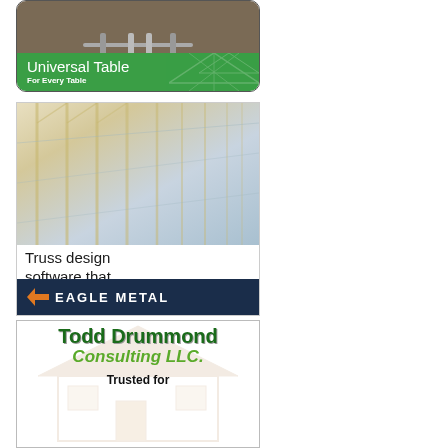[Figure (advertisement): Universal Table advertisement with green banner showing 'Universal Table - For Every Table']
[Figure (advertisement): Eagle Metal truss design software advertisement: 'Truss design software that drives efficiency.' with Eagle Metal logo on dark navy bar]
[Figure (advertisement): Todd Drummond Consulting LLC advertisement with house/truss outline graphic and text 'Trusted for']